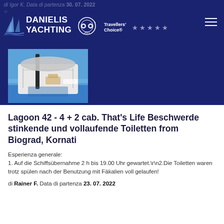di Igor K. Data di partenza 30. 07. 2022
[Figure (logo): Danielis Yachting logo with sailing boat icon and Travellers' Choice 2021 TripAdvisor badge, star ratings in header]
[Figure (photo): Aerial/deck view of a large white yacht with outdoor seating area, blue sea and sky in background]
Lagoon 42 - 4 + 2 cab. That's Life Beschwerde stinkende und vollaufende Toiletten from Biograd, Kornati
Esperienza generale:
1. Auf die Schiffsübernahme 2 h bis 19.00 Uhr gewartet.\r\n2.Die Toiletten waren trotz spülen nach der Benutzung mit Fäkalien voll gelaufen!
di Rainer F. Data di partenza 23. 07. 2022